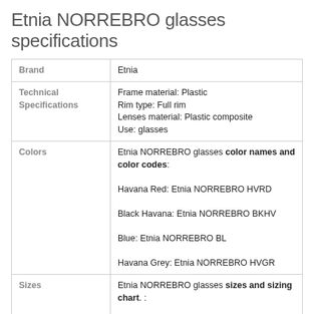Etnia NORREBRO glasses specifications
|  |  |
| --- | --- |
| Brand | Etnia |
| Technical Specifications | Frame material: Plastic
Rim type: Full rim
Lenses material: Plastic composite
Use: glasses |
| Colors | Etnia NORREBRO glasses color names and color codes:
Havana Red: Etnia NORREBRO HVRD
Black Havana: Etnia NORREBRO BKHV
Blue: Etnia NORREBRO BL
Havana Grey: Etnia NORREBRO HVGR |
| Sizes | Etnia NORREBRO glasses sizes and sizing chart. :
Small: 51-16-140 |